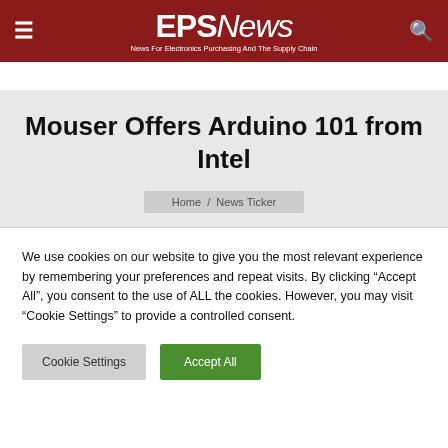EPS News — News For Electronics Purchasing And The Supply Chain
Mouser Offers Arduino 101 from Intel
Home / News Ticker
We use cookies on our website to give you the most relevant experience by remembering your preferences and repeat visits. By clicking "Accept All", you consent to the use of ALL the cookies. However, you may visit "Cookie Settings" to provide a controlled consent.
Cookie Settings   Accept All